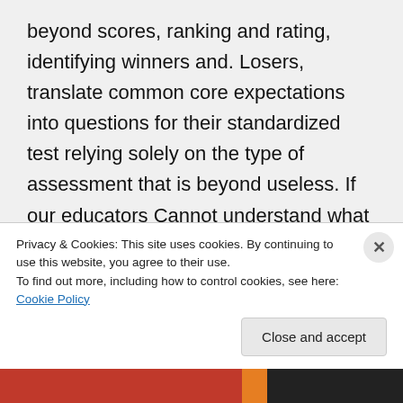beyond scores, ranking and rating, identifying winners and. Losers, translate common core expectations into questions for their standardized test relying solely on the type of assessment that is beyond useless. If our educators Cannot understand what a system is, cannot understand interdependence , cannot understand diversity as
Privacy & Cookies: This site uses cookies. By continuing to use this website, you agree to their use. To find out more, including how to control cookies, see here: Cookie Policy
Close and accept